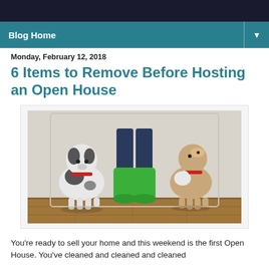Blog Home
Monday, February 12, 2018
6 Items to Remove Before Hosting an Open House
[Figure (photo): Person wearing green rubber boots standing between two small dogs (a black-and-white dog on the left and a brown-and-white Jack Russell terrier on the right), both wearing red collars, against a white wall with wooden floor.]
You're ready to sell your home and this weekend is the first Open House. You've cleaned and cleaned and cleaned